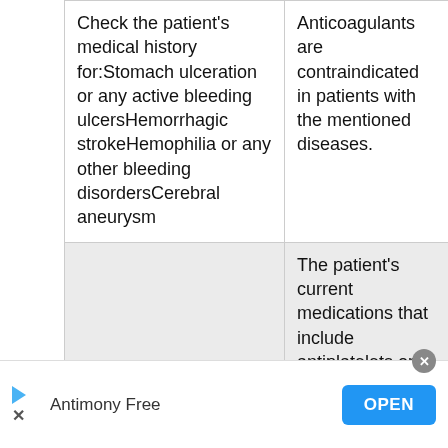|  |  |
| --- | --- |
| Check the patient's medical history for:Stomach ulceration or any active bleeding ulcersHemorrhagic strokeHemophilia or any other bleeding disordersCerebral aneurysm | Anticoagulants are contraindicated in patients with the mentioned diseases. |
|  | The patient's current medications that include antiplatelets or |
Antimony Free
OPEN